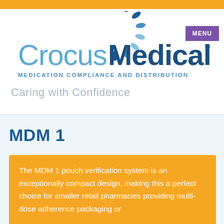[Figure (logo): Crocus Medical logo with stylized sunburst/pill icon above text, and tagline 'MEDICATION COMPLIANCE AND DISTRIBUTION']
MDM 1
The MDM 1 pouch verification system is an exceptionally compact design, making this a perfect choice for smaller retail pharmacies providing multi-dose adherence packaging or